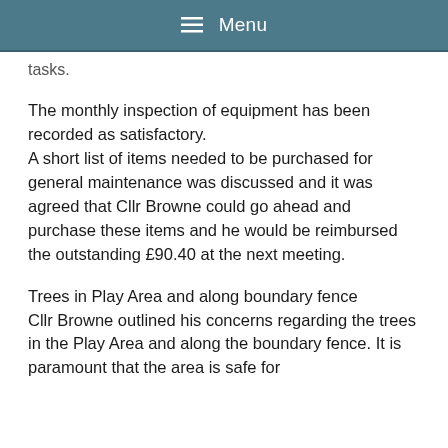≡ Menu
tasks.
The monthly inspection of equipment has been recorded as satisfactory.
A short list of items needed to be purchased for general maintenance was discussed and it was agreed that Cllr Browne could go ahead and purchase these items and he would be reimbursed the outstanding £90.40 at the next meeting.
Trees in Play Area and along boundary fence
Cllr Browne outlined his concerns regarding the trees in the Play Area and along the boundary fence. It is paramount that the area is safe for